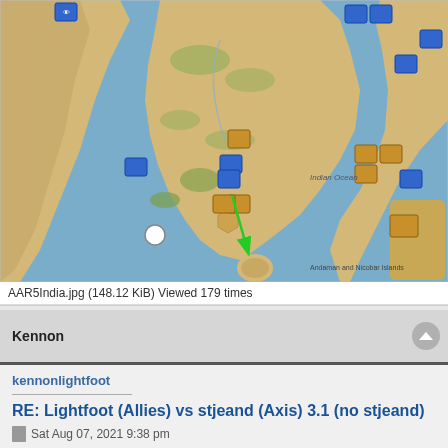[Figure (map): Strategy game map showing India and surrounding region with colored unit tokens. Blue and gold/yellow unit counters are placed across the subcontinent and surrounding ocean areas. A green arrow points from central India toward Sri Lanka (south). Text 'Andaman and Nicobar Islands' visible in lower right.]
AAR5India.jpg (148.12 KiB) Viewed 179 times
Kennon
kennonlightfoot
RE: Lightfoot (Allies) vs stjeand (Axis) 3.1 (no stjeand)
Sat Aug 07, 2021 9:38 pm